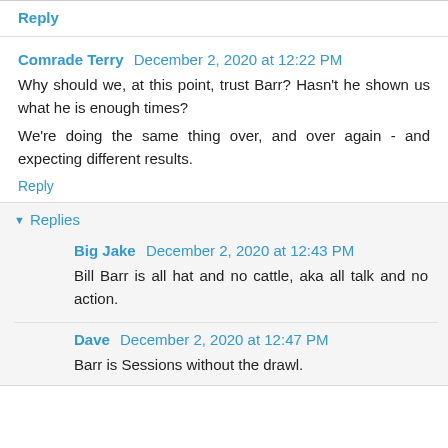Reply
Comrade Terry  December 2, 2020 at 12:22 PM
Why should we, at this point, trust Barr? Hasn't he shown us what he is enough times?
We're doing the same thing over, and over again - and expecting different results.
Reply
Replies
Big Jake  December 2, 2020 at 12:43 PM
Bill Barr is all hat and no cattle, aka all talk and no action.
Dave  December 2, 2020 at 12:47 PM
Barr is Sessions without the drawl.